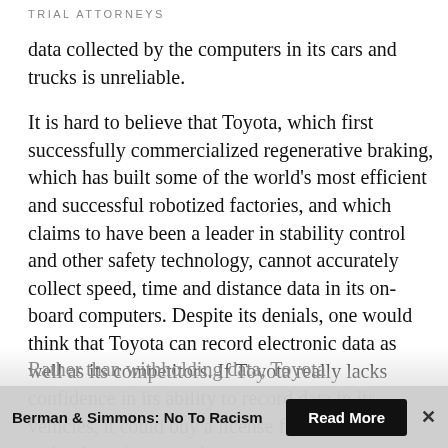TRIAL ATTORNEYS
data collected by the computers in its cars and trucks is unreliable.
It is hard to believe that Toyota, which first successfully commercialized regenerative braking, which has built some of the world's most efficient and successful robotized factories, and which claims to have been a leader in stability control and other safety technology, cannot accurately collect speed, time and distance data in its on-board computers. Despite its denials, one would think that Toyota can record electronic data as well as its competitors. If Toyota really lacks confidence in its ability to record data in its vehicles, it could buy a license for reliable technology from another company.
Rather than withholding data, Toyota
Berman & Simmons: No To Racism   Read More   ×